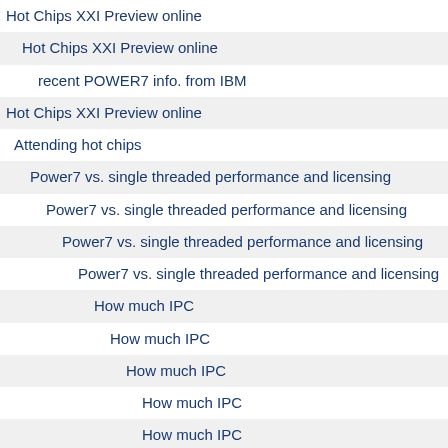Hot Chips XXI Preview online
Hot Chips XXI Preview online
recent POWER7 info. from IBM
Hot Chips XXI Preview online
Attending hot chips
Power7 vs. single threaded performance and licensing
Power7 vs. single threaded performance and licensing
Power7 vs. single threaded performance and licensing
Power7 vs. single threaded performance and licensing
How much IPC
How much IPC
How much IPC
How much IPC
How much IPC
How much IPC
How much IPC
How much IPC
How much IPC
How much IPC
How much IPC
How much IPC
How much IPC